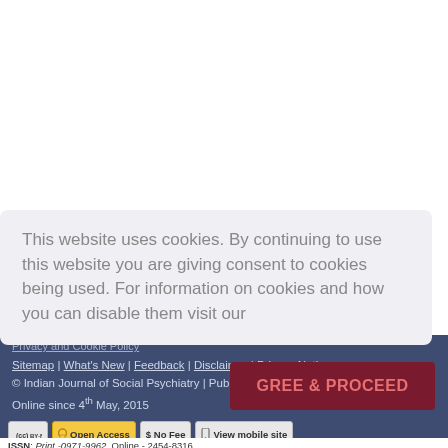This website uses cookies. By continuing to use this website you are giving consent to cookies being used. For information on cookies and how you can disable them visit our
Privacy and Cookie Policy
Sitemap | What's New | Feedback | Disclaimer | Privacy Notice
© Indian Journal of Social Psychiatry | Published by Wolters Kluwer - Medknow
Online since 4th May, 2015
Editorial and Ethics Policies
[Figure (infographic): AGREE & PROCEED button in dark red]
[Figure (infographic): Badges row: CC BY-NC-SA license badge, Open Access badge, No Fee badge, View mobile site badge]
ISSN: Print -0971-9962, Online - 2454-8316